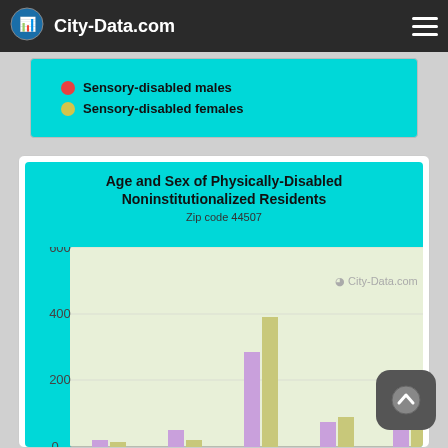City-Data.com
[Figure (other): Legend showing Sensory-disabled males (red dot) and Sensory-disabled females (yellow dot)]
[Figure (grouped-bar-chart): Age and Sex of Physically-Disabled Noninstitutionalized Residents]